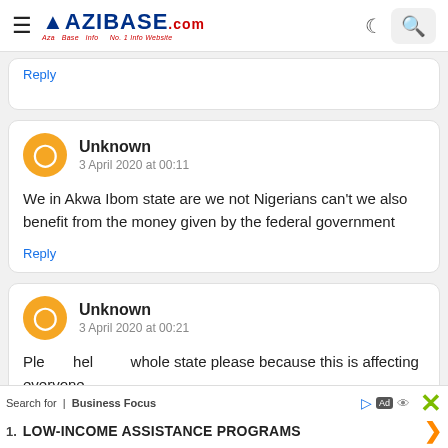Nazibase.com - No. 1 Info Website
Reply
Unknown
3 April 2020 at 00:11

We in Akwa Ibom state are we not Nigerians can't we also benefit from the money given by the federal government

Reply
Unknown
3 April 2020 at 00:21

Ple... hel... whole state please because this is affecting everyone
Search for | Business Focus
1. LOW-INCOME ASSISTANCE PROGRAMS